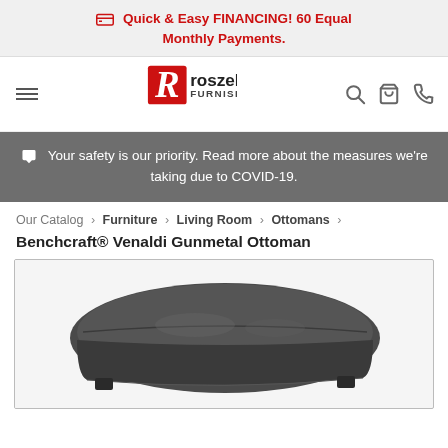Quick & Easy FINANCING! 60 Equal Monthly Payments.
[Figure (logo): Roszell's Furnishings logo with hamburger menu icon and navigation icons (search, cart, phone)]
Your safety is our priority. Read more about the measures we're taking due to COVID-19.
Our Catalog › Furniture › Living Room › Ottomans ›
Benchcraft® Venaldi Gunmetal Ottoman
[Figure (photo): Photo of a dark gunmetal grey upholstered ottoman (Benchcraft Venaldi Gunmetal Ottoman) on a light background]